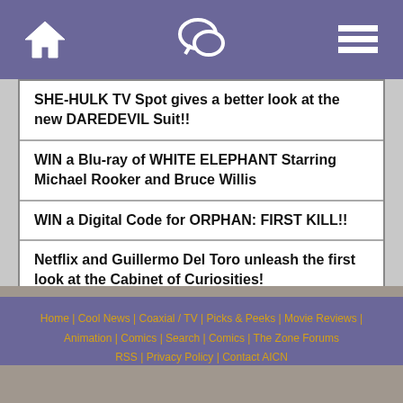Navigation header with home, chat, and menu icons
SHE-HULK TV Spot gives a better look at the new DAREDEVIL Suit!!
WIN a Blu-ray of WHITE ELEPHANT Starring Michael Rooker and Bruce Willis
WIN a Digital Code for ORPHAN: FIRST KILL!!
Netflix and Guillermo Del Toro unleash the first look at the Cabinet of Curiosities!
Home | Cool News | Coaxial / TV | Picks & Peeks | Movie Reviews | Animation | Comics | Search | Comics | The Zone Forums | RSS | Privacy Policy | Contact AICN
This site is © 1996-2022 Ain't It Cool News.